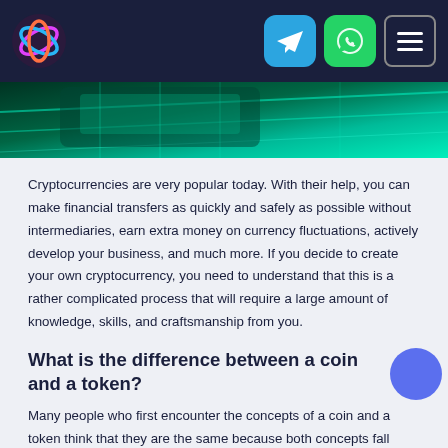Navigation bar with logo, Telegram icon, WhatsApp icon, and menu icon
[Figure (photo): Green and teal neon-lit abstract cryptocurrency or technology image, partially visible at the top of the page]
Cryptocurrencies are very popular today. With their help, you can make financial transfers as quickly and safely as possible without intermediaries, earn extra money on currency fluctuations, actively develop your business, and much more. If you decide to create your own cryptocurrency, you need to understand that this is a rather complicated process that will require a large amount of knowledge, skills, and craftsmanship from you.
What is the difference between a coin and a token?
Many people who first encounter the concepts of a coin and a token think that they are the same because both concepts fall under the definition of "cryptocurrency". This is not true.